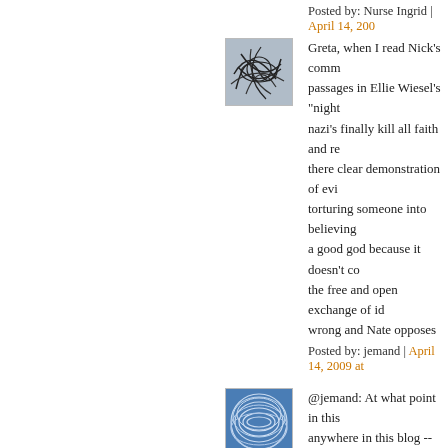Posted by: Nurse Ingrid | April 14, 200...
[Figure (illustration): Avatar icon with abstract scribble lines on blue-grey background]
Greta, when I read Nick's comm... passages in Ellie Wiesel's "night"... nazi's finally kill all faith and re... there clear demonstration of evi... torturing someone into believing... a good god because it doesn't co... the free and open exchange of id... wrong and Nate opposes me eve... atheist 'cuz by example I might ... than I take it all back and that's a...
Posted by: jemand | April 14, 2009 at ...
[Figure (illustration): Avatar icon with concentric oval wave lines on blue background]
@jemand: At what point in this ... anywhere in this blog -- have I a... people's faith away by torture, d...